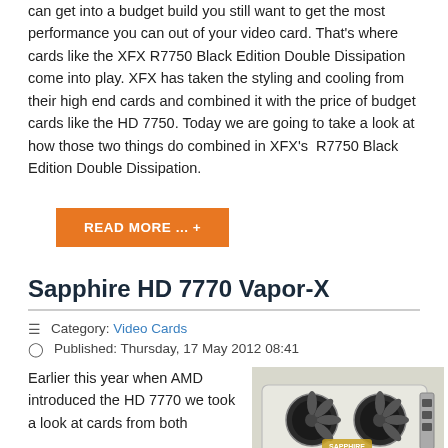can get into a budget build you still want to get the most performance you can out of your video card. That's where cards like the XFX R7750 Black Edition Double Dissipation come into play. XFX has taken the styling and cooling from their high end cards and combined it with the price of budget cards like the HD 7750. Today we are going to take a look at how those two things do combined in XFX's  R7750 Black Edition Double Dissipation.
READ MORE ... +
Sapphire HD 7770 Vapor-X
Category: Video Cards
Published: Thursday, 17 May 2012 08:41
Earlier this year when AMD introduced the HD 7770 we took a look at cards from both
[Figure (photo): Photo of the Sapphire HD 7770 Vapor-X graphics card, a white GPU with dual fans]